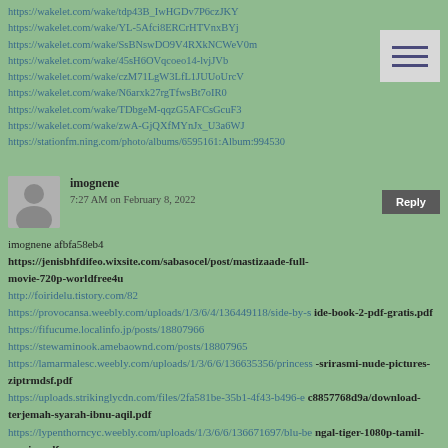https://wakelet.com/wake/tdp43B_IwHGDv7P6czJKY
https://wakelet.com/wake/YL-5Afci8ERCrHTVnxBYj
https://wakelet.com/wake/SsBNswDO9V4RXkNCWeV0m
https://wakelet.com/wake/45sH6OVqcoeo14-lvjJVb
https://wakelet.com/wake/czM71LgW3LfL1JUUoUrcV
https://wakelet.com/wake/N6arxk27rgTfwsBt7oIR0
https://wakelet.com/wake/TDbgeM-qqzG5AFCsGcuF3
https://wakelet.com/wake/zwA-GjQXfMYnJx_U3a6WJ
https://stationfm.ning.com/photo/albums/6595161:Album:994530
[Figure (other): Hamburger menu icon with three horizontal lines on a light grey background]
imognene
7:27 AM on February 8, 2022
imognene afbfa58eb4
https://jenisbhfdifeo.wixsite.com/sabasocel/post/mastizaade-full-movie-720p-worldfree4u
http://foiridelu.tistory.com/82
https://provocansa.weebly.com/uploads/1/3/6/4/136449118/side-by-side-book-2-pdf-gratis.pdf
https://fifucume.localinfo.jp/posts/18807966
https://stewaminook.amebaownd.com/posts/18807965
https://lamarmalesc.weebly.com/uploads/1/3/6/6/136635356/princess-srirasmi-nude-pictures-ziptrmdsf.pdf
https://uploads.strikinglycdn.com/files/2fa581be-35b1-4f43-b496-ec8857768d9a/download-terjemah-syarah-ibnu-aqil.pdf
https://lypenthorncyc.weebly.com/uploads/1/3/6/6/136671697/blu-bengal-tiger-1080p-tamil-movies.pdf
https://ralipino.weebly.com/uploads/1/3/6/6/136646067/kottayam-nu